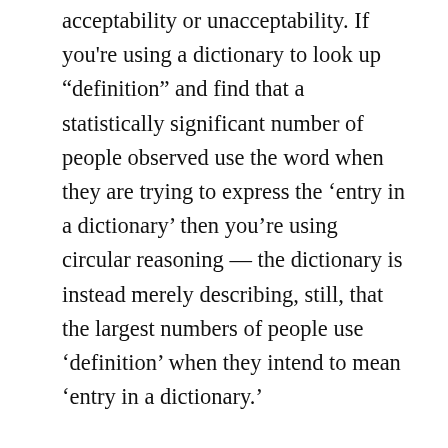acceptability or unacceptability. If you're using a dictionary to look up “definition” and find that a statistically significant number of people observed use the word when they are trying to express the ‘entry in a dictionary’ then you’re using circular reasoning — the dictionary is instead merely describing, still, that the largest numbers of people use ‘definition’ when they intend to mean ‘entry in a dictionary.’